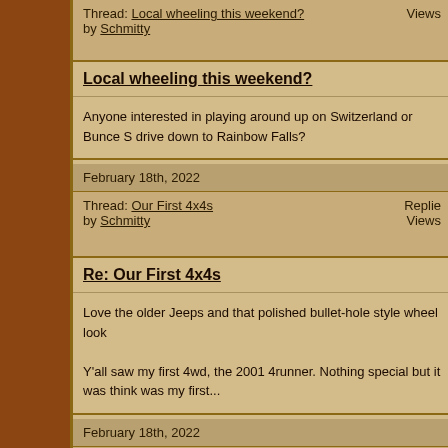Thread: Local wheeling this weekend? by Schmitty Views
Local wheeling this weekend?
Anyone interested in playing around up on Switzerland or Bunce S drive down to Rainbow Falls?
February 18th, 2022
Thread: Our First 4x4s by Schmitty Replies Views
Re: Our First 4x4s
Love the older Jeeps and that polished bullet-hole style wheel look

Y'all saw my first 4wd, the 2001 4runner. Nothing special but it was think was my first...
February 18th, 2022
Thread: The Campfire. by Schmitty Replies Views
Re: The Campfire.